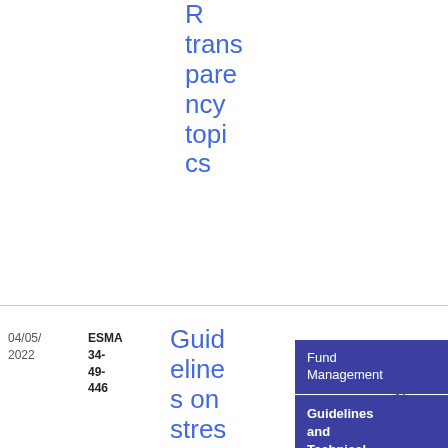R transparency topics
04/05/2022
ESMA 34-49-446
Guidelines on stress test scenarios under the MMF Regulation-
Fund Management
Guidelines and Technical standards
Guidelines & Recommendations
[Figure (other): PDF download icon - blue square with double chevron down symbol]
PDF
61 9.42 KB